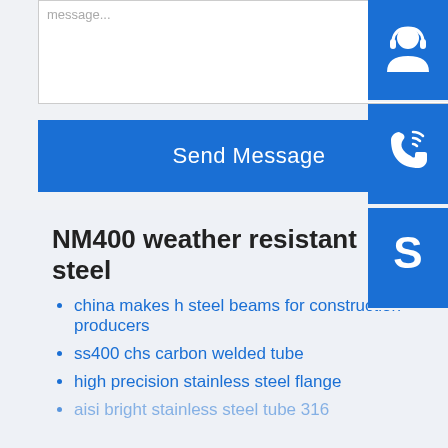[Figure (screenshot): A message textarea input box (partially visible at top), partially cut off at top of page]
Send Message
[Figure (illustration): Blue sidebar button with headset/support icon]
[Figure (illustration): Blue sidebar button with phone/call icon]
[Figure (illustration): Blue sidebar button with Skype 'S' logo icon]
NM400 weather resistant steel
china makes h steel beams for construction producers
ss400 chs carbon welded tube
high precision stainless steel flange
aisi bright stainless steel tube 316